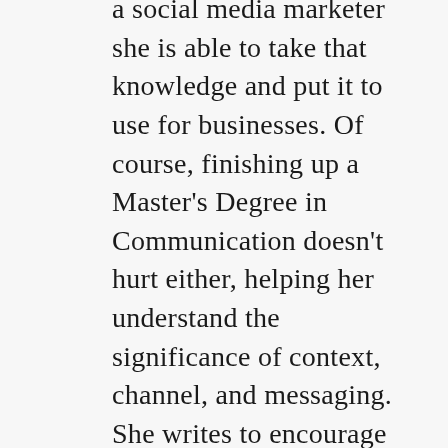a social media marketer she is able to take that knowledge and put it to use for businesses. Of course, finishing up a Master's Degree in Communication doesn't hurt either, helping her understand the significance of context, channel, and messaging. She writes to encourage conversations that help others develop actionable branding strategies but more importantly, encourage conversations